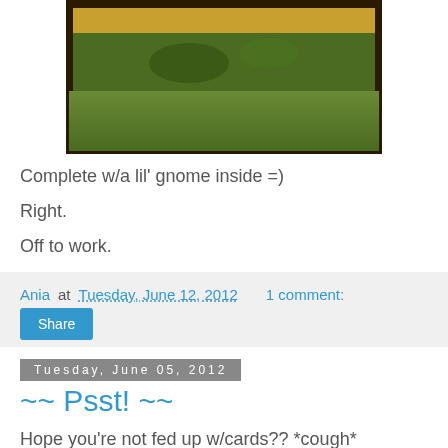[Figure (photo): Photograph showing grass/garden scene with dark border, partially cropped at top]
Complete w/a lil' gnome inside =)
Right.
Off to work.
Ania at Tuesday, June 12, 2012   1 comment:
Share
Tuesday, June 05, 2012
~~ Psst! ~~
Hope you're not fed up w/cards?? *cough*
[Figure (photo): Partially visible photo at bottom, light colored background]